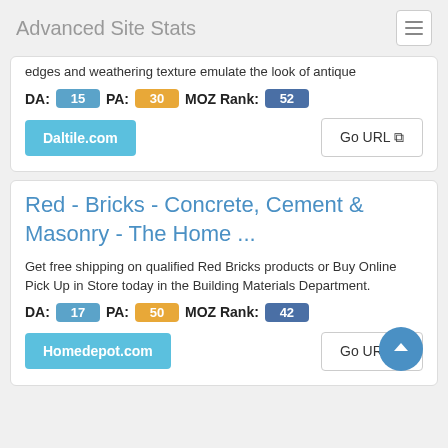Advanced Site Stats
edges and weathering texture emulate the look of antique
DA: 15  PA: 30  MOZ Rank: 52
Daltile.com
Go URL
Red - Bricks - Concrete, Cement & Masonry - The Home ...
Get free shipping on qualified Red Bricks products or Buy Online Pick Up in Store today in the Building Materials Department.
DA: 17  PA: 50  MOZ Rank: 42
Homedepot.com
Go URL